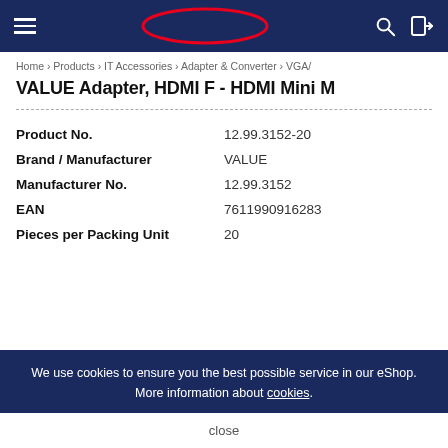SECOMP
Home › Products › IT Accessories › Adapter & Converter › VGA/
VALUE Adapter, HDMI F - HDMI Mini M
| Field | Value |
| --- | --- |
| Product No. | 12.99.3152-20 |
| Brand / Manufacturer | VALUE |
| Manufacturer No. | 12.99.3152 |
| EAN | 7611990916283 |
| Pieces per Packing Unit | 20 |
We use cookies to ensure you the best possible service in our eShop. More information about cookies.